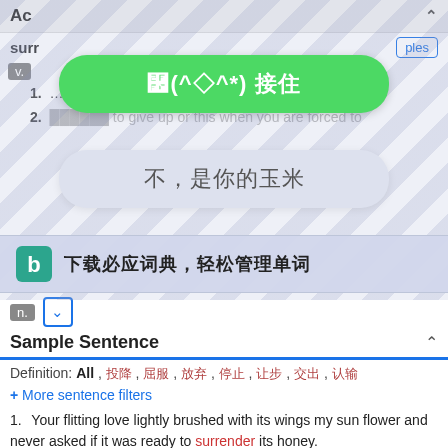Ac
surr
[Figure (screenshot): Popup overlay with green button showing emoticon and Chinese text '接住', gray button showing '不，是你的玉米', and a Bing dictionary banner '下载必应词典，轻松管理单词']
v.
1. ...o stop ... etc.
2. ...to give up or to let someone win when you are forced to...
n.
Sample Sentence
Definition: All , 投降 , 屈服 , 放弃 , 停止 , 让步 , 交出 , 认输
+ More sentence filters
1. Your flitting love lightly brushed with its wings my sun flower and never asked if it was ready to surrender its honey.
你若即若离的爱以其翅膀轻拂我的向日葵，从未询问它是否甘愿奉献花蜜。
nǐ ruò jí ruò lí de ài yǐ chì shāo qīng fú wǒ de xiàng rì kuí , cóng wèi xún wèn tā shì fǒu jí jiāng fèng xiàn tā de huā mì 。
blog.sina.com.cn